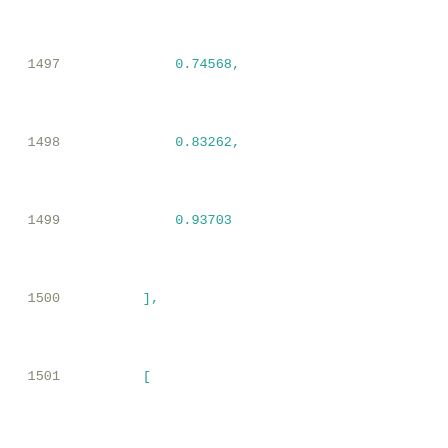1497    0.74568,
1498    0.83262,
1499    0.93703
1500    ],
1501    [
1502    0.28526,
1503    0.36144,
1504    0.37242,
1505    0.38499,
1506    0.39938,
1507    0.41588,
1508    0.43497,
1509    0.45712,
1510    0.48304,
1511    0.5135,
1512    0.54944,
1513    0.59196,
1514    0.64275,
1515    0.70348,
1516    0.77582,
1517    0.86316,